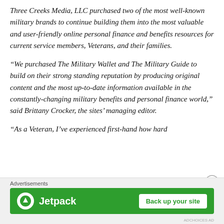Three Creeks Media, LLC purchased two of the most well-known military brands to continue building them into the most valuable and user-friendly online personal finance and benefits resources for current service members, Veterans, and their families.
“We purchased The Military Wallet and The Military Guide to build on their strong standing reputation by producing original content and the most up-to-date information available in the constantly-changing military benefits and personal finance world,” said Brittany Crocker, the sites’ managing editor.
“As a Veteran, I’ve experienced first-hand how hard
[Figure (other): Jetpack advertisement banner with logo and 'Back up your site' button on green background, labeled 'Advertisements']